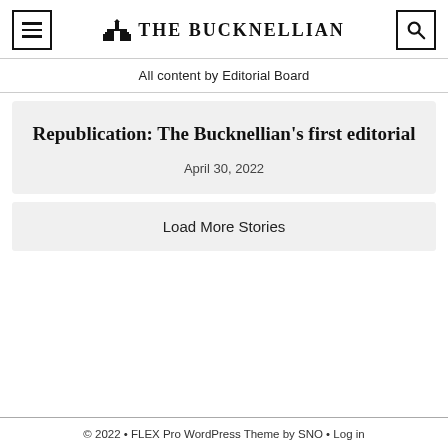THE BUCKNELLIAN
All content by Editorial Board
Republication: The Bucknellian's first editorial
April 30, 2022
Load More Stories
© 2022 • FLEX Pro WordPress Theme by SNO • Log in